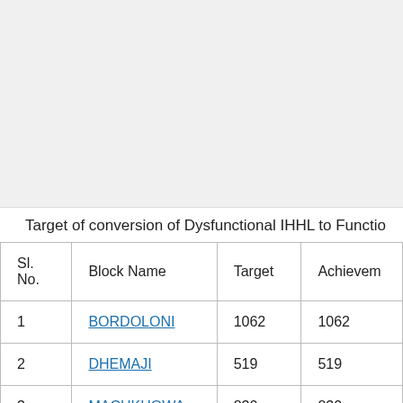[Figure (other): Gray blank area at top of page, likely content above the visible viewport]
Target of conversion of Dysfunctional IHHL to Functio...
| Sl. No. | Block Name | Target | Achievement |
| --- | --- | --- | --- |
| 1 | BORDOLONI | 1062 | 1062 |
| 2 | DHEMAJI | 519 | 519 |
| 3 | MACHKHOWA | 830 | 830 |
| 4 | MUKONGELEK | 8850 | 8850 |